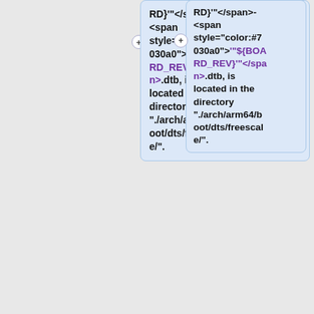RD}"'</span>-<span style="color:#7030a0">"'${BOARD_REV}'"</span>.dtb, is located in the directory "./arch/arm64/boot/dts/freescale".
:Note:<!--StartFragment--><font size="2" face="Microsoft JhengHei UI" color="#000000">./build_x11/tmp/work-shared/imx8qxprom5620a1/kernel-